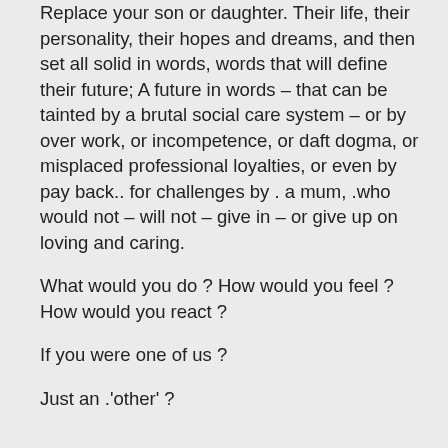Replace your son or daughter. Their life, their personality, their hopes and dreams, and then set all solid in words, words that will define their future; A future in words – that can be tainted by a brutal social care system – or by over work, or incompetence, or daft dogma, or misplaced professional loyalties, or even by pay back.. for challenges by . a mum, .who would not – will not – give in – or give up on loving and caring.
What would you do ? How would you feel ? How would you react ?
If you were one of us ?
Just an .'other' ?